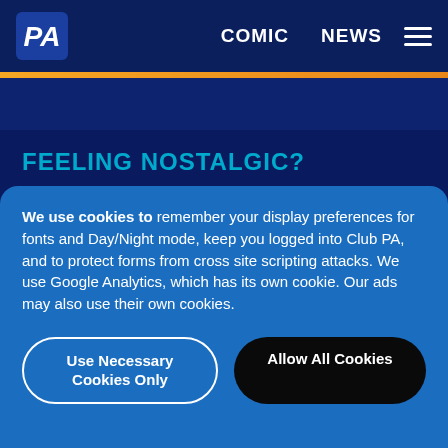PA | COMIC | NEWS
FEELING NOSTALGIC?
[Figure (photo): Comic strip panels showing characters with party hats and speech bubbles about a sandwich, a 2D game, twelve-year-old system pricing, and making fun]
21 Years Ago
September 5th Is
We use cookies to remember your display preferences for fonts and Day/Night mode, keep you logged into Club PA, and to protect forms from cross site scripting attacks. We use Google Analytics, which has its own cookie. Our ads may also use their own cookies.
Use Necessary Cookies Only
Allow All Cookies